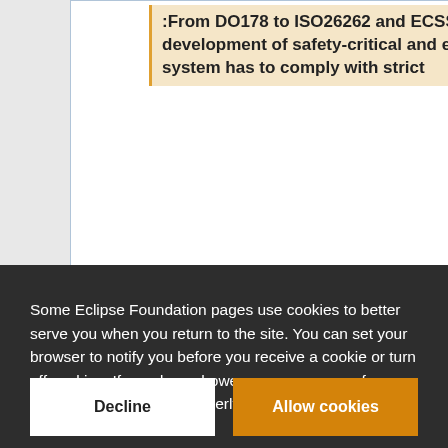:From DO178 to ISO26262 and ECSS 40, the development of safety-critical and embedded system has to comply with strict
Some Eclipse Foundation pages use cookies to better serve you when you return to the site. You can set your browser to notify you before you receive a cookie or turn off cookies. If you do so, however, some areas of some sites may not function properly. To read Eclipse Foundation Privacy Policy click here.
Working Group (IWG)